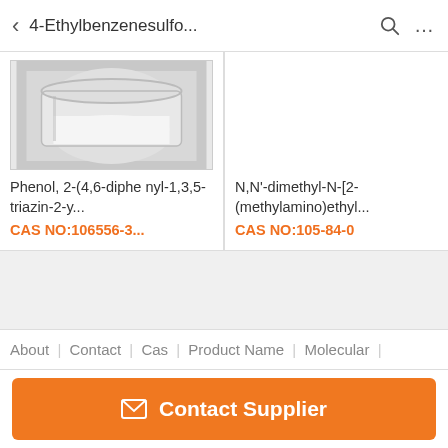4-Ethylbenzenesulfo...
[Figure (photo): Photo of white powder in a glass jar/bowl, product image for Phenol chemical compound]
Phenol, 2-(4,6-diphenyl-1,3,5-triazin-2-y...
CAS NO:106556-3...
N,N'-dimethyl-N-[2-(methylamino)ethyl...
CAS NO:105-84-0
About | Contact | Cas | Product Name | Molecular |
Contact Supplier